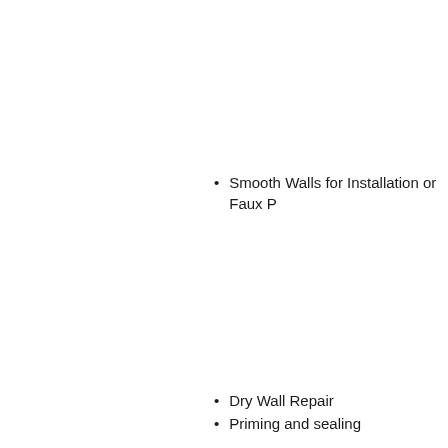Smooth Walls for Installation or Faux P…
Dry Wall Repair
Priming and sealing